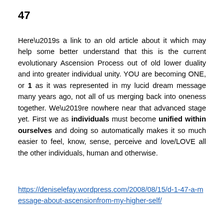47
Here’s a link to an old article about it which may help some better understand that this is the current evolutionary Ascension Process out of old lower duality and into greater individual unity. YOU are becoming ONE, or 1 as it was represented in my lucid dream message many years ago, not all of us merging back into oneness together. We’re nowhere near that advanced stage yet. First we as individuals must become unified within ourselves and doing so automatically makes it so much easier to feel, know, sense, perceive and love/LOVE all the other individuals, human and otherwise.
https://deniselefay.wordpress.com/2008/08/15/d-1-47-a-message-about-ascensionfrom-my-higher-self/